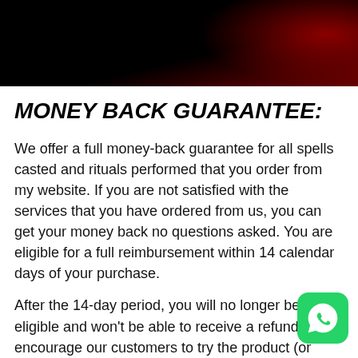[Figure (photo): Dark header image with black background and deep red tones in the upper right corner]
MONEY BACK GUARANTEE:
We offer a full money-back guarantee for all spells casted and rituals performed that you order from my website. If you are not satisfied with the services that you have ordered from us, you can get your money back no questions asked. You are eligible for a full reimbursement within 14 calendar days of your purchase.
After the 14-day period, you will no longer be eligible and won't be able to receive a refund. We encourage our customers to try the product (or service) in the first two
[Figure (logo): WhatsApp logo button - green rounded square with white WhatsApp phone icon]